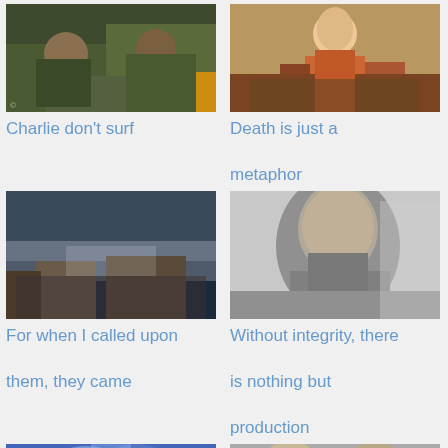[Figure (photo): Two people in military/green clothing, one pointing]
Charlie don't surf
[Figure (photo): Ancient/medieval religious painting scene with robed figures]
Death is just a metaphor
[Figure (photo): Battle or disaster scene with mountains and smoky atmosphere]
For when I called upon them, they came
[Figure (photo): Black and white close-up portrait of a man]
Without integrity, there is nothing but production
[Figure (photo): Colorful anime-style illustration in blue tones]
[Figure (photo): Black and white photo of people, one wearing a Hawks cap]